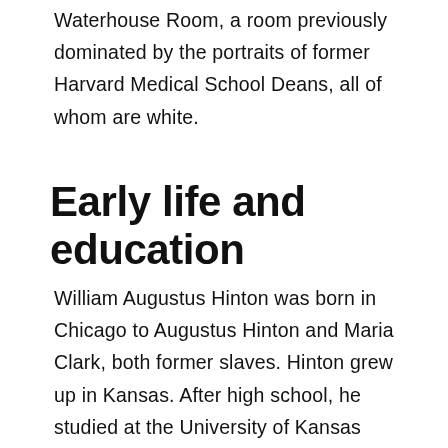Waterhouse Room, a room previously dominated by the portraits of former Harvard Medical School Deans, all of whom are white.
Early life and education
William Augustus Hinton was born in Chicago to Augustus Hinton and Maria Clark, both former slaves. Hinton grew up in Kansas. After high school, he studied at the University of Kansas before transferring to Harvard University, where he earned a B.S. degree in 1905. Following his graduation, he taught in Tennessee and Oklahoma. During the